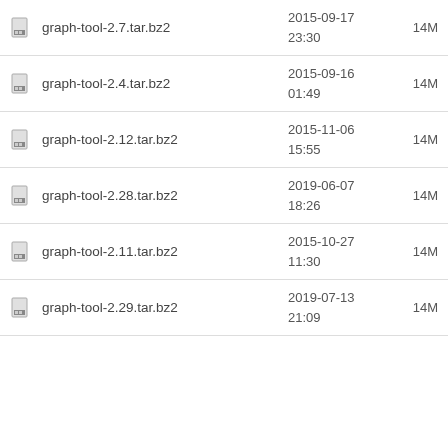graph-tool-2.7.tar.bz2  2015-09-17 23:30  14M
graph-tool-2.4.tar.bz2  2015-09-16 01:49  14M
graph-tool-2.12.tar.bz2  2015-11-06 15:55  14M
graph-tool-2.28.tar.bz2  2019-06-07 18:26  14M
graph-tool-2.11.tar.bz2  2015-10-27 11:30  14M
graph-tool-2.29.tar.bz2  2019-07-13 21:09  14M